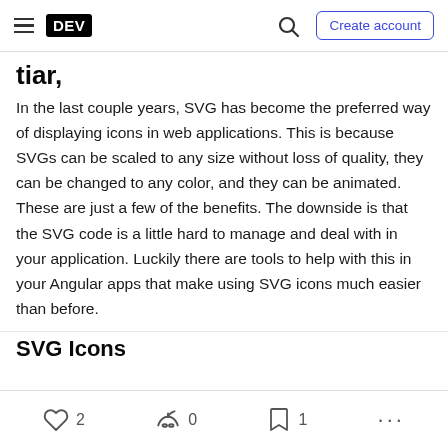DEV | Create account
tiar,
In the last couple years, SVG has become the preferred way of displaying icons in web applications. This is because SVGs can be scaled to any size without loss of quality, they can be changed to any color, and they can be animated. These are just a few of the benefits. The downside is that the SVG code is a little hard to manage and deal with in your application. Luckily there are tools to help with this in your Angular apps that make using SVG icons much easier than before.
SVG Icons
2  0  1  ...